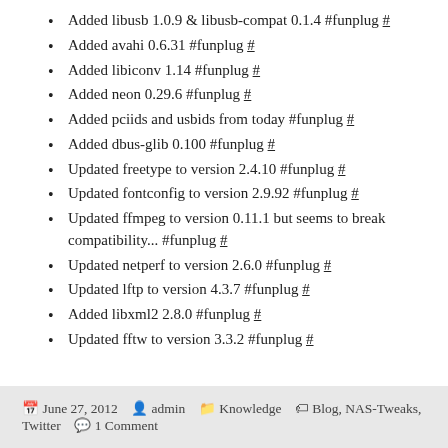Added libusb 1.0.9 & libusb-compat 0.1.4 #funplug #
Added avahi 0.6.31 #funplug #
Added libiconv 1.14 #funplug #
Added neon 0.29.6 #funplug #
Added pciids and usbids from today #funplug #
Added dbus-glib 0.100 #funplug #
Updated freetype to version 2.4.10 #funplug #
Updated fontconfig to version 2.9.92 #funplug #
Updated ffmpeg to version 0.11.1 but seems to break compatibility... #funplug #
Updated netperf to version 2.6.0 #funplug #
Updated lftp to version 4.3.7 #funplug #
Added libxml2 2.8.0 #funplug #
Updated fftw to version 3.3.2 #funplug #
June 27, 2012   admin   Knowledge   Blog, NAS-Tweaks, Twitter   1 Comment